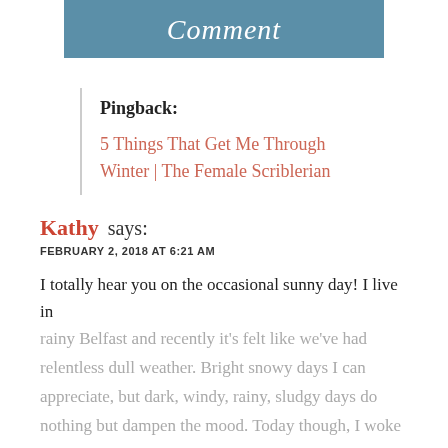Comment
Pingback:
5 Things That Get Me Through Winter | The Female Scriblerian
Kathy says:
FEBRUARY 2, 2018 AT 6:21 AM
I totally hear you on the occasional sunny day! I live in rainy Belfast and recently it's felt like we've had relentless dull weather. Bright snowy days I can appreciate, but dark, windy, rainy, sludgy days do nothing but dampen the mood. Today though, I woke